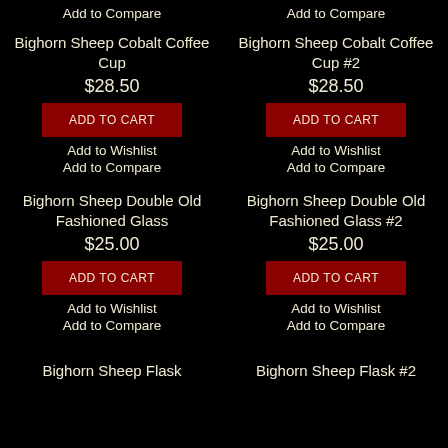Add to Compare
Add to Compare
Bighorn Sheep Cobalt Coffee Cup
Bighorn Sheep Cobalt Coffee Cup #2
$28.50
$28.50
ADD TO CART
ADD TO CART
Add to Wishlist
Add to Wishlist
Add to Compare
Add to Compare
Bighorn Sheep Double Old Fashioned Glass
Bighorn Sheep Double Old Fashioned Glass #2
$25.00
$25.00
ADD TO CART
ADD TO CART
Add to Wishlist
Add to Wishlist
Add to Compare
Add to Compare
Bighorn Sheep Flask
Bighorn Sheep Flask #2